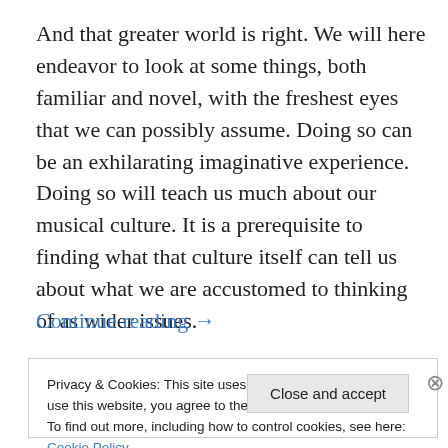And that greater world is right. We will here endeavor to look at some things, both familiar and novel, with the freshest eyes that we can possibly assume. Doing so can be an exhilarating imaginative experience. Doing so will teach us much about our musical culture. It is a prerequisite to finding what that culture itself can tell us about what we are accustomed to thinking of as wider issues.
Continue reading →
Privacy & Cookies: This site uses cookies. By continuing to use this website, you agree to their use. To find out more, including how to control cookies, see here: Cookie Policy
Close and accept